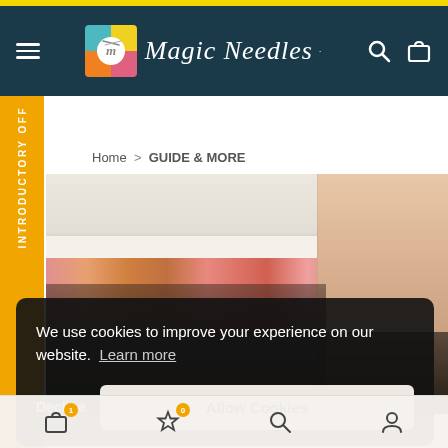Magic Needles — navigation header with hamburger menu, logo, search and cart icons
INTRODUCTORY OFF
Home  >  GUIDE & MORE
[Figure (photo): A person browsing yarn and craft supplies on store shelves, partially obscured by a cookie consent banner]
We use cookies to improve your experience on our website.  Learn more
Decline
Allow Cookies
Bottom navigation bar with cart (1), wishlist (0), search, and profile icons